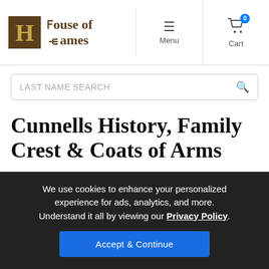House of Names — Menu | Cart
LAST NAME SEARCH
Cunnells History, Family Crest & Coats of Arms
Origins Available: England
We use cookies to enhance your personalized experience for ads, analytics, and more. Understand it all by viewing our Privacy Policy. Accept & Continue